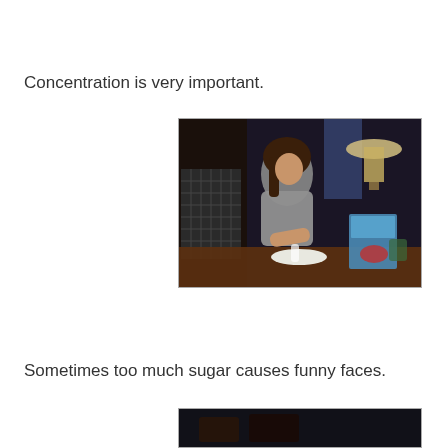Concentration is very important.
[Figure (photo): A girl in a gray hoodie sitting at a table concentrating on decorating cookies. A lamp and holiday items are visible in the background.]
Sometimes too much sugar causes funny faces.
[Figure (photo): Partially visible dark photo at bottom of page.]